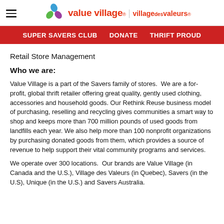Value Village | village des valeurs
SUPER SAVERS CLUB   DONATE   THRIFT PROUD
Retail Store Management
Who we are:
Value Village is a part of the Savers family of stores. We are a for-profit, global thrift retailer offering great quality, gently used clothing, accessories and household goods. Our Rethink Reuse business model of purchasing, reselling and recycling gives communities a smart way to shop and keeps more than 700 million pounds of used goods from landfills each year. We also help more than 100 nonprofit organizations by purchasing donated goods from them, which provides a source of revenue to help support their vital community programs and services.
We operate over 300 locations. Our brands are Value Village (in Canada and the U.S.), Village des Valeurs (in Quebec), Savers (in the U.S), Unique (in the U.S.) and Savers Australia.